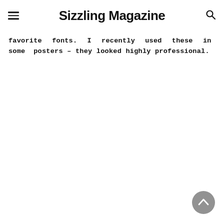Sizzling Magazine
favorite fonts. I recently used these in some posters – they looked highly professional.
[Figure (other): Scroll-to-top button, a circular grey button with an upward chevron arrow]